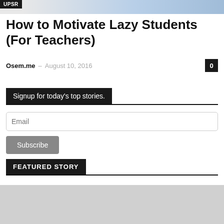[Figure (photo): Partial top image banner with light blue gradient background]
UPSR
How to Motivate Lazy Students (For Teachers)
Osem.me – August 10, 2016
Signup for today's top stories.
Email
Subscribe
FEATURED STORY
[Figure (photo): Featured story image area, partially visible gray placeholder at bottom]